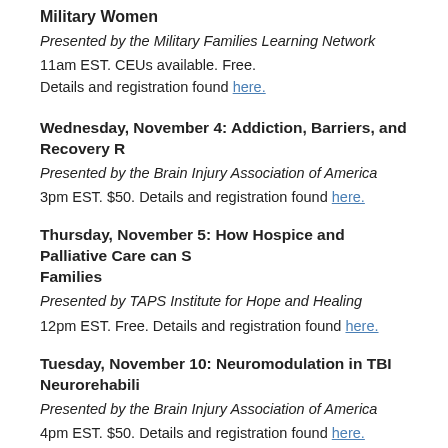Military Women
Presented by the Military Families Learning Network
11am EST. CEUs available. Free.
Details and registration found here.
Wednesday, November 4: Addiction, Barriers, and Recovery R…
Presented by the Brain Injury Association of America
3pm EST. $50. Details and registration found here.
Thursday, November 5: How Hospice and Palliative Care can S… Families
Presented by TAPS Institute for Hope and Healing
12pm EST. Free. Details and registration found here.
Tuesday, November 10: Neuromodulation in TBI Neurorehabili…
Presented by the Brain Injury Association of America
4pm EST. $50. Details and registration found here.